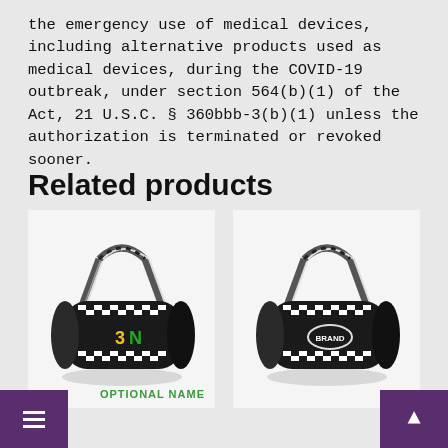the emergency use of medical devices, including alternative products used as medical devices, during the COVID-19 outbreak, under section 564(b)(1) of the Act, 21 U.S.C. § 360bbb-3(b)(1) unless the authorization is terminated or revoked sooner.
Related products
[Figure (photo): Black duffel bag with black-and-white checkered straps and yellow-green '3N' logo on front]
OPTIONAL NAME
[Figure (photo): Black duffel bag with black-and-white checkered straps and oval logo patch on front]